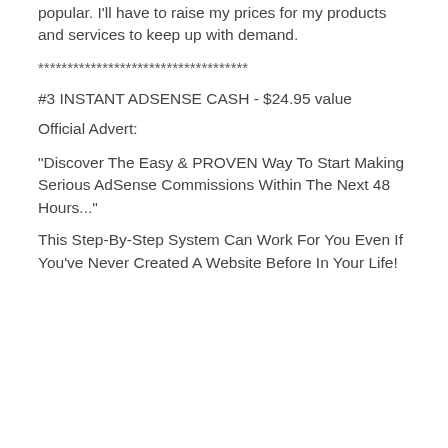popular. I'll have to raise my prices for my products and services to keep up with demand.
************************************
#3 INSTANT ADSENSE CASH - $24.95 value
Official Advert:
"Discover The Easy & PROVEN Way To Start Making Serious AdSense Commissions Within The Next 48 Hours..."
This Step-By-Step System Can Work For You Even If You've Never Created A Website Before In Your Life!